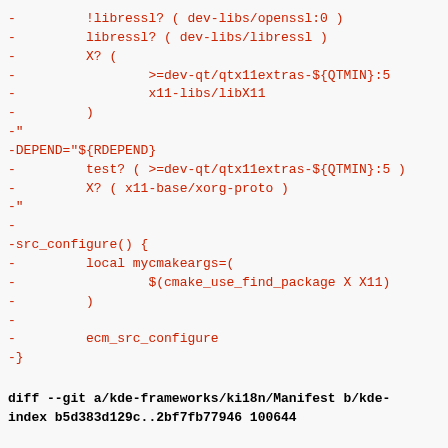-         !libressl? ( dev-libs/openssl:0 )
-         libressl? ( dev-libs/libressl )
-         X? (
-                 >=dev-qt/qtx11extras-${QTMIN}:5
-                 x11-libs/libX11
-         )
-"
-DEPEND="${RDEPEND}
-         test? ( >=dev-qt/qtx11extras-${QTMIN}:5 )
-         X? ( x11-base/xorg-proto )
-"
-
-src_configure() {
-         local mycmakeargs=(
-                 $(cmake_use_find_package X X11)
-         )
-
-         ecm_src_configure
-}
diff --git a/kde-frameworks/ki18n/Manifest b/kde-
index b5d383d129c..2bf7fb77946 100644